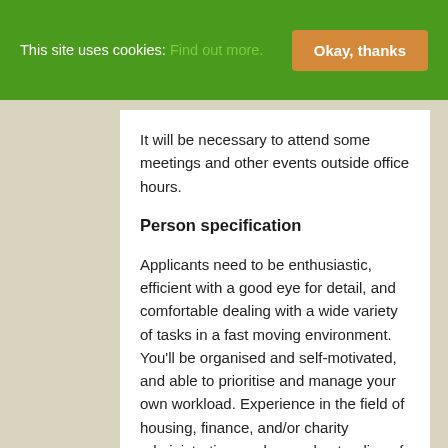This site uses cookies: Find out more. Okay, thanks
It will be necessary to attend some meetings and other events outside office hours.
Person specification
Applicants need to be enthusiastic, efficient with a good eye for detail, and comfortable dealing with a wide variety of tasks in a fast moving environment. You'll be organised and self-motivated, and able to prioritise and manage your own workload. Experience in the field of housing, finance, and/or charity administration, and an understanding of affordable housing development would be an advantage but are not essential. You will be a good communicator, both verbally and in writing, and have experience in the following IT programs/platforms: Microsoft Office (Essential), Dropbox (D), Mailchimp (Desirable), WordPress (D), Thunderbird (D), HMRC PAYE tools (D). Some training can be provided but as this is a primarily